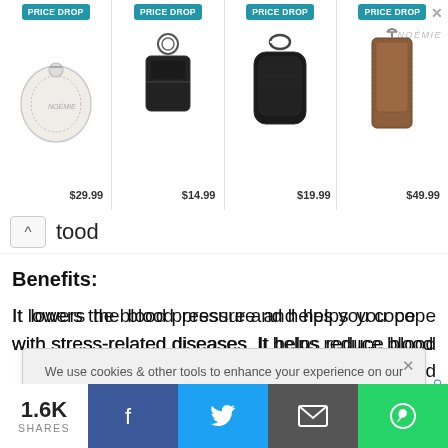[Figure (screenshot): Ad banner with four products showing PRICE DROP badges. Items: round white coin purse $29.99, black key fob $14.99, black AirPods case $19.99, brown phone strap $49.99. Brand: NOEMIE.]
tood
Benefits:
It lowers the blood pressure and helps you cope with stress-related diseases. It helps reduce blood sitivity and onoids which event heart aids in deep
We use cookies & other tools to enhance your experience on our website and to analyze our web traffic.

For more information about these cookies and the data collected, please refer to our Privacy Policy.
I ACCEPT USE OF COOKIES
Scroll To
1.6K
SHARES